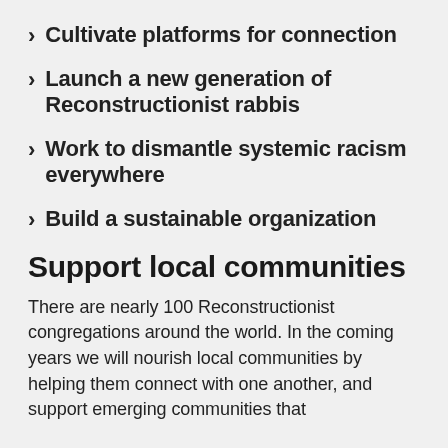> Cultivate platforms for connection
> Launch a new generation of Reconstructionist rabbis
> Work to dismantle systemic racism everywhere
> Build a sustainable organization
Support local communities
There are nearly 100 Reconstructionist congregations around the world. In the coming years we will nourish local communities by helping them connect with one another, and support emerging communities that